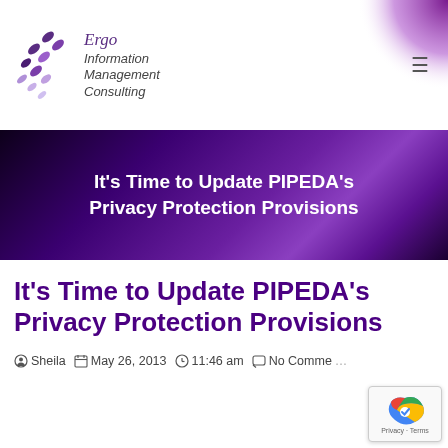Ergo Information Management Consulting
[Figure (logo): Ergo Information Management Consulting logo with purple diamond shapes and italic text]
It's Time to Update PIPEDA's Privacy Protection Provisions
It's Time to Update PIPEDA's Privacy Protection Provisions
Sheila   May 26, 2013   11:46 am   No Comments